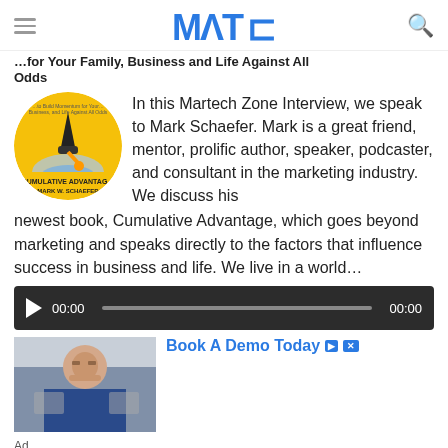MATc [logo]
for Your Family, Business and Life Against All Odds
In this Martech Zone Interview, we speak to Mark Schaefer. Mark is a great friend, mentor, prolific author, speaker, podcaster, and consultant in the marketing industry. We discuss his newest book, Cumulative Advantage, which goes beyond marketing and speaks directly to the factors that influence success in business and life. We live in a world…
[Figure (photo): Book cover for Cumulative Advantage by Mark W. Schaefer, circular crop, yellow background with rocket and mountain imagery]
[Figure (screenshot): Audio player with play button, 00:00 start time, progress bar, 00:00 end time, dark background]
[Figure (photo): Advertisement photo of a smiling man in a blue shirt wearing glasses, sitting at a desk]
Book A Demo Today
Ad